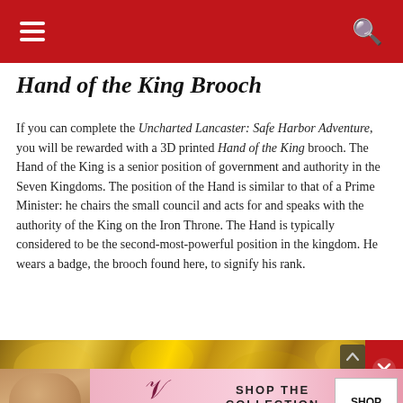Navigation bar with hamburger menu and search icon
Hand of the King Brooch
If you can complete the Uncharted Lancaster: Safe Harbor Adventure, you will be rewarded with a 3D printed Hand of the King brooch. The Hand of the King is a senior position of government and authority in the Seven Kingdoms. The position of the Hand is similar to that of a Prime Minister: he chairs the small council and acts for and speaks with the authority of the King on the Iron Throne. The Hand is typically considered to be the second-most-powerful position in the kingdom. He wears a badge, the brooch found here, to signify his rank.
[Figure (photo): Close-up photo of golden brooch or jewelry against dark background]
Advertisements
[Figure (photo): Victoria's Secret advertisement banner with model and 'Shop the Collection' text and 'Shop Now' button]